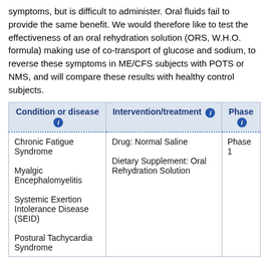symptoms, but is difficult to administer. Oral fluids fail to provide the same benefit. We would therefore like to test the effectiveness of an oral rehydration solution (ORS, W.H.O. formula) making use of co-transport of glucose and sodium, to reverse these symptoms in ME/CFS subjects with POTS or NMS, and will compare these results with healthy control subjects.
| Condition or disease | Intervention/treatment | Phase |
| --- | --- | --- |
| Chronic Fatigue Syndrome
Myalgic Encephalomyelitis
Systemic Exertion Intolerance Disease (SEID)
Postural Tachycardia Syndrome | Drug: Normal Saline
Dietary Supplement: Oral Rehydration Solution | Phase 1 |